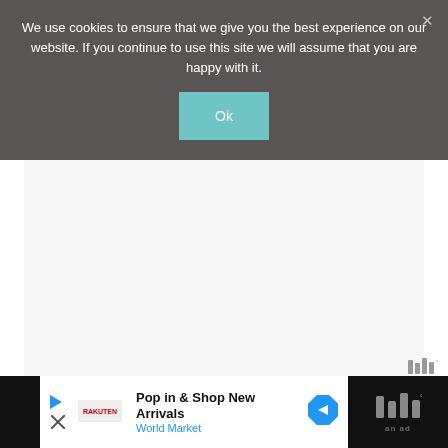We use cookies to ensure that we give you the best experience on our website. If you continue to use this site we will assume that you are happy with it.
[Figure (screenshot): Cookie consent overlay with dark grey background, teal 'Ok' button, and close X in top right corner]
[Figure (screenshot): White/light grey content area below cookie overlay]
[Figure (infographic): Bottom advertisement bar: black bar with white ad panel showing 'Pop in & Shop New Arrivals' for World Market with play/skip controls, logo, and navigation arrow icon]